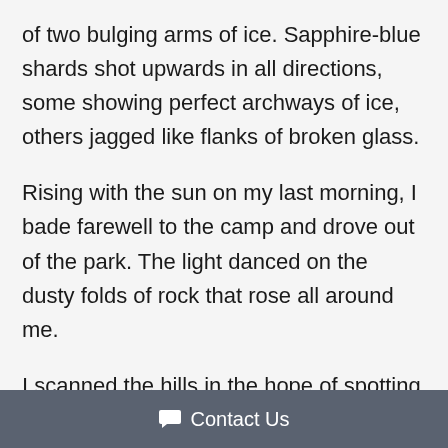of two bulging arms of ice. Sapphire-blue shards shot upwards in all directions, some showing perfect archways of ice, others jagged like flanks of broken glass.
Rising with the sun on my last morning, I bade farewell to the camp and drove out of the park. The light danced on the dusty folds of rock that rose all around me.
I scanned the hills in the hope of spotting something come to life. The closest I had come to seeing a puma may have been a fleeting glimpse
Contact Us